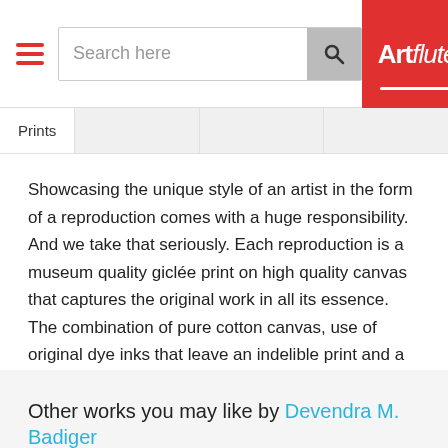[Figure (screenshot): Artflute website header with hamburger menu, search bar, and red logo]
Prints
Showcasing the unique style of an artist in the form of a reproduction comes with a huge responsibility. And we take that seriously. Each reproduction is a museum quality giclée print on high quality canvas that captures the original work in all its essence.
The combination of pure cotton canvas, use of original dye inks that leave an indelible print and a fine finish of lacquer for longevity makes our signature reproductions irresistible for empty walls.
Other works you may like by Devendra M. Badiger